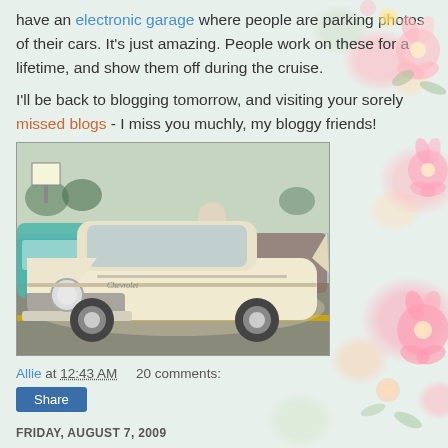have an electronic garage where people are parking photos of their cars. It's just amazing. People work on these for a lifetime, and show them off during the cruise.
I'll be back to blogging tomorrow, and visiting your sorely missed blogs - I miss you muchly, my bloggy friends!
[Figure (photo): A classic cream/white 1957 Chevrolet Bel Air at a car cruise event, viewed from the front-left angle. A person stands behind it and other classic cars are visible in the background.]
Allie at 12:43 AM    20 comments:
Share
FRIDAY, AUGUST 7, 2009